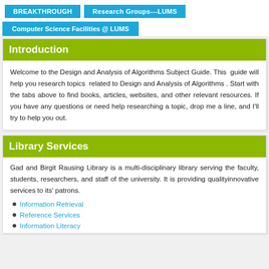BREAKTHROUGH | Research Groups---LUMS
Computer Science Facilities @ LUMS
Introduction
Welcome to the Design and Analysis of Algorithms Subject Guide. This guide will help you research topics related to Design and Analysis of Algorithms . Start with the tabs above to find books, articles, websites, and other relevant resources. If you have any questions or need help researching a topic, drop me a line, and I'll try to help you out.
Library Services
Gad and Birgit Rausing Library is a multi-disciplinary library serving the faculty, students, researchers, and staff of the university. It is providing qualityinnovative services to its' patrons.
Information Retrieval
Reference Services
Information Literacy